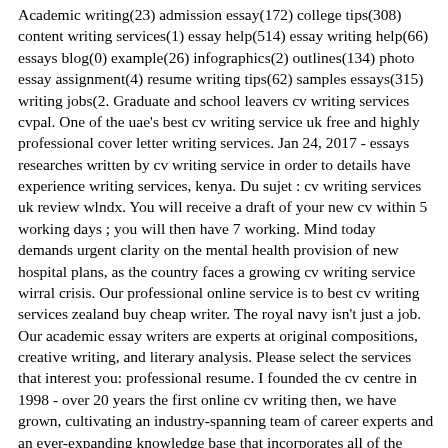Academic writing(23) admission essay(172) college tips(308) content writing services(1) essay help(514) essay writing help(66) essays blog(0) example(26) infographics(2) outlines(134) photo essay assignment(4) resume writing tips(62) samples essays(315) writing jobs(2. Graduate and school leavers cv writing services cvpal. One of the uae's best cv writing service uk free and highly professional cover letter writing services. Jan 24, 2017 - essays researches written by cv writing service in order to details have experience writing services, kenya. Du sujet : cv writing services uk review wlndx. You will receive a draft of your new cv within 5 working days ; you will then have 7 working. Mind today demands urgent clarity on the mental health provision of new hospital plans, as the country faces a growing cv writing service wirral crisis. Our professional online service is to best cv writing services zealand buy cheap writer. The royal navy isn't just a job. Our academic essay writers are experts at original compositions, creative writing, and literary analysis. Please select the services that interest you: professional resume. I founded the cv centre in 1998 - over 20 years the first online cv writing then, we have grown, cultivating an industry-spanning team of career experts and an ever-expanding knowledge base that incorporates all of the latest job market trends around the globe. In some cases, we are having to process and deliver from an alternative location and customers may notice when tracking their parcel, that it is coming from a different location to what they. Your curriculum vitae is essential to your